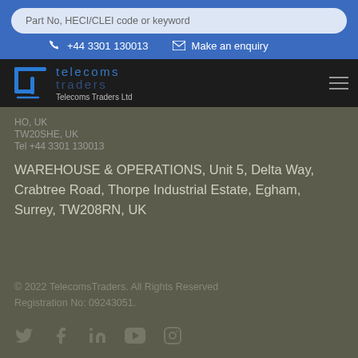Part No, HECI/CLEI code or keyword
+44 3301 130013
Make an enquiry
[Figure (logo): Telecoms Traders Ltd logo with stylized T symbol and company name]
HO, UK
TW20SHE, UK
Tel +44 3301 130013
WAREHOUSE & OPERATIONS, Unit 5, Delta Way, Crabtree Road, Thorpe Industrial Estate, Egham, Surrey, TW208RN, UK
© 2022 TelecomsTraders. All Rights Reserved Registration No: 09243051.
[Figure (infographic): Social media icons: Twitter, Facebook, LinkedIn, YouTube, Instagram]